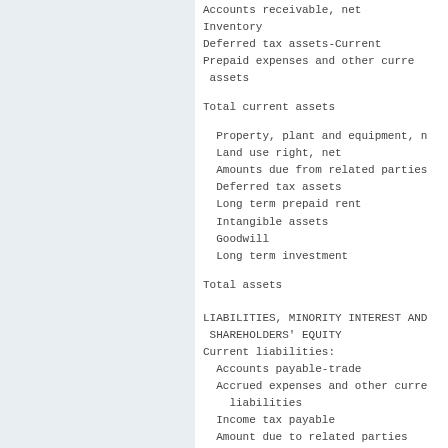Accounts receivable, net
Inventory
Deferred tax assets-Current
Prepaid expenses and other current assets
Total current assets
Property, plant and equipment, net
Land use right, net
Amounts due from related parties
Deferred tax assets
Long term prepaid rent
Intangible assets
Goodwill
Long term investment
Total assets
LIABILITIES, MINORITY INTEREST AND SHAREHOLDERS' EQUITY
Current liabilities:
Accounts payable-trade
Accrued expenses and other current liabilities
Income tax payable
Amount due to related parties
Deferred revenue
Total current liabilities